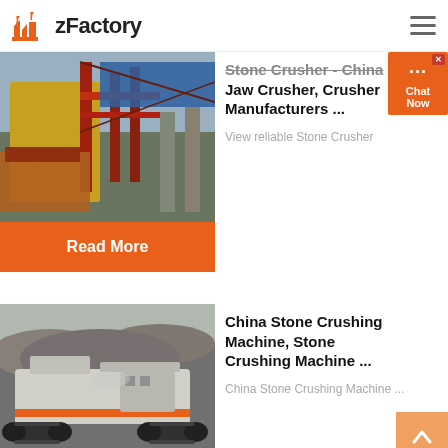zFactory
[Figure (photo): Industrial stone crusher plant with metal framework, red and yellow machinery, under a cloudy sky]
Stone Crusher - China Jaw Crusher, Crusher Manufacturers ...
View reliable Stone Crusher
Read More
[Figure (photo): Mobile stone crushing machine on tracks in a quarry/gravel pit setting]
China Stone Crushing Machine, Stone Crushing Machine ...
China Stone Crushing Machine ...